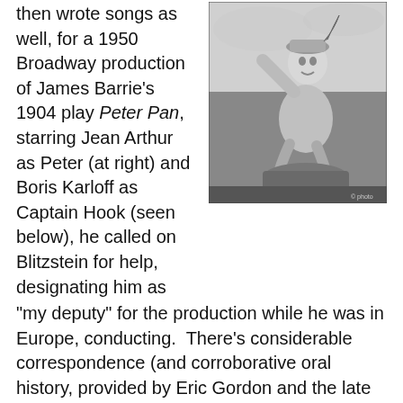then wrote songs as well, for a 1950 Broadway production of James Barrie's 1904 play Peter Pan, starring Jean Arthur as Peter (at right) and Boris Karloff as Captain Hook (seen below), he called on Blitzstein for help, designating him as
[Figure (photo): Black and white photograph of a person dressed as Peter Pan, crouching outdoors on what appears to be a log or tree stump, smiling at the camera. The figure wears a costume with a cap and tights.]
"my deputy" for the production while he was in Europe, conducting.  There's considerable correspondence (and corroborative oral history, provided by Eric Gordon and the late Brent Oldham) which indicates that Blitzstein revised much of Bernstein's work, including the lyrics to the best song in the show, "Dream With Me" (see https://youtu.be/W7BbO9z_VDI) which was cut in 1950, but restored as the crowning jewel at the conclusion of this summer's revival and revitalization of the show at Bard (June 28-July 22), inspired by a recently-released Koch CD of the songs sung by Linda Eder (see